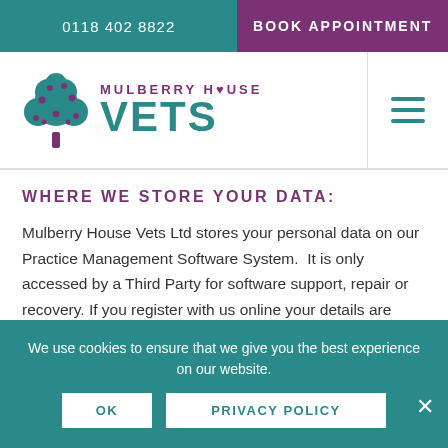0118 402 8822 | BOOK APPOINTMENT
[Figure (logo): Mulberry House Vets logo with tree illustration and text MULBERRY HOUSE VETS]
WHERE WE STORE YOUR DATA:
Mulberry House Vets Ltd stores your personal data on our Practice Management Software System. It is only accessed by a Third Party for software support, repair or recovery. If you register with us online your details are collected via MailChimp but access is restricted to Mulberry House Vets Ltd only.
We use cookies to ensure that we give you the best experience on our website.
OK | PRIVACY POLICY